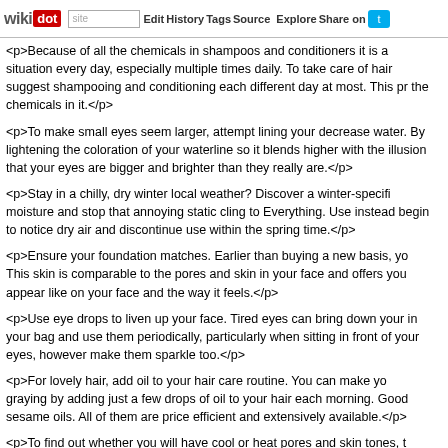wikidot | site | Edit | History | Tags | Source | Explore | Share on [Twitter]
<p>Because of all the chemicals in shampoos and conditioners it is a situation every day, especially multiple times daily. To take care of hair suggest shampooing and conditioning each different day at most. This pr the chemicals in it.</p>
<p>To make small eyes seem larger, attempt lining your decrease water. By lightening the coloration of your waterline so it blends higher with the illusion that your eyes are bigger and brighter than they really are.</p>
<p>Stay in a chilly, dry winter local weather? Discover a winter-specifi moisture and stop that annoying static cling to Everything. Use instead begin to notice dry air and discontinue use within the spring time.</p>
<p>Ensure your foundation matches. Earlier than buying a new basis, yo This skin is comparable to the pores and skin in your face and offers you appear like on your face and the way it feels.</p>
<p>Use eye drops to liven up your face. Tired eyes can bring down your in your bag and use them periodically, particularly when sitting in front of your eyes, however make them sparkle too.</p>
<p>For lovely hair, add oil to your hair care routine. You can make yo graying by adding just a few drops of oil to your hair each morning. Good sesame oils. All of them are price efficient and extensively available.</p>
<p>To find out whether you will have cool or heat pores and skin tones, t wrist. In case you have cool skin, the veins will seem bluish in colour. If yo tint instead. Cool skin tones look greatest in cool colors, resembling blue best in warm colors like purple, yellow and orange.</p>